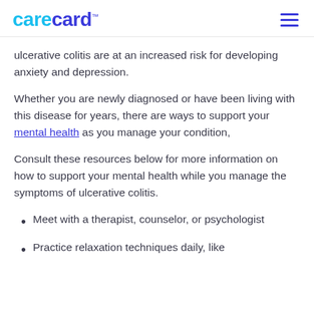carecard
ulcerative colitis are at an increased risk for developing anxiety and depression.
Whether you are newly diagnosed or have been living with this disease for years, there are ways to support your mental health as you manage your condition,
Consult these resources below for more information on how to support your mental health while you manage the symptoms of ulcerative colitis.
Meet with a therapist, counselor, or psychologist
Practice relaxation techniques daily, like